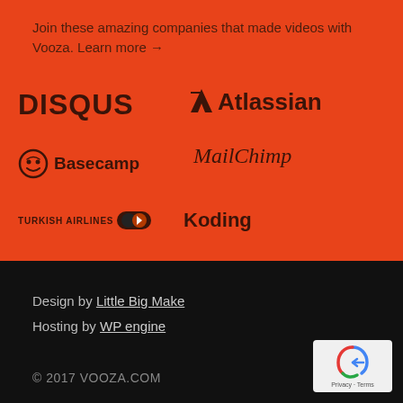Join these amazing companies that made videos with Vooza. Learn more →
[Figure (logo): DISQUS logo in dark brown on orange background]
[Figure (logo): Atlassian logo with X icon in dark brown on orange background]
[Figure (logo): Basecamp logo with face icon in dark brown on orange background]
[Figure (logo): MailChimp script logo in dark brown on orange background]
[Figure (logo): Turkish Airlines logo text with toggle icon on orange background]
[Figure (logo): Koding logo in dark brown on orange background]
Design by Little Big Make
Hosting by WP engine
[Figure (other): Google reCAPTCHA badge with Privacy and Terms links]
© 2017 VOOZA.COM